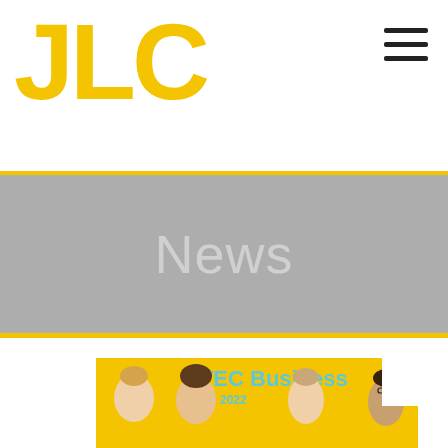JLC
News
[Figure (photo): Group photo of four female students in front of a yellow banner reading 'BTEC Business Results 2022']